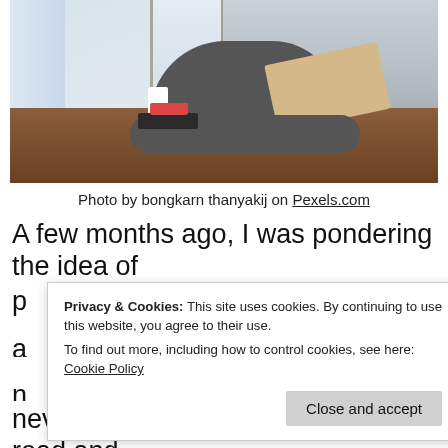[Figure (photo): Person sitting cross-legged on a wooden floor by bright windows, using a laptop. A coffee mug and stacked books/notebooks with a phone on top are on the floor beside them.]
Photo by bongkarn thanyakij on Pexels.com
A few months ago, I was pondering the idea of
Privacy & Cookies: This site uses cookies. By continuing to use this website, you agree to their use. To find out more, including how to control cookies, see here: Cookie Policy
never mind letting other people read and